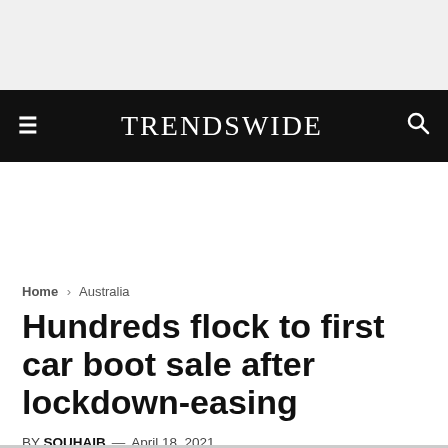TrendsWide
Home > Australia
Hundreds flock to first car boot sale after lockdown-easing
BY SOUHAIB — April 18, 2021